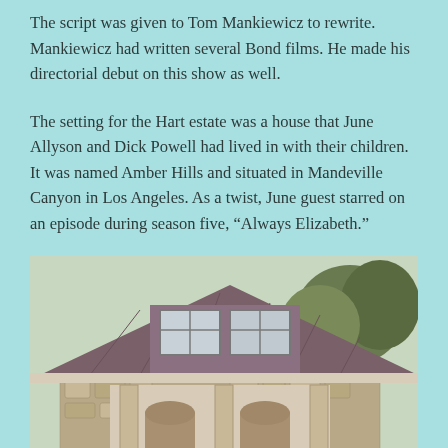The script was given to Tom Mankiewicz to rewrite. Mankiewicz had written several Bond films. He made his directorial debut on this show as well.
The setting for the Hart estate was a house that June Allyson and Dick Powell had lived in with their children. It was named Amber Hills and situated in Mandeville Canyon in Los Angeles. As a twist, June guest starred on an episode during season five, “Always Elizabeth.”
[Figure (photo): Exterior photo of a house with stone facade, dormer windows, brown shingle roof, and surrounding trees. The house appears to be a Colonial or Cape Cod style home with arched doorways and a covered porch area.]